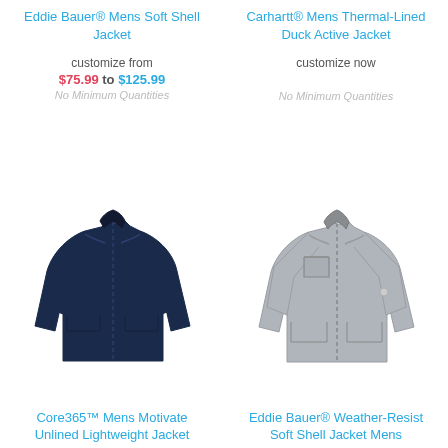Eddie Bauer® Mens Soft Shell Jacket
customize from $75.99 to $125.99
No Minimum Quantities
[Figure (photo): Navy blue men's soft shell jacket]
Core365™ Mens Motivate Unlined Lightweight Jacket
Carhartt® Mens Thermal-Lined Duck Active Jacket
customize now
No Minimum Quantities
[Figure (photo): Gray men's soft shell jacket]
Eddie Bauer® Weather-Resist Soft Shell Jacket Mens